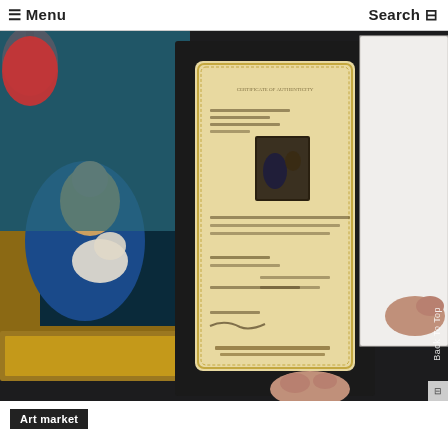☰ Menu    Search
[Figure (photo): A person holding open a black portfolio/folder displaying a yellowed antique document or certificate with ornate border, alongside a painting with a gold frame showing a Madonna and child figure in blue robes, set against a dark background.]
Back To Top
Art market